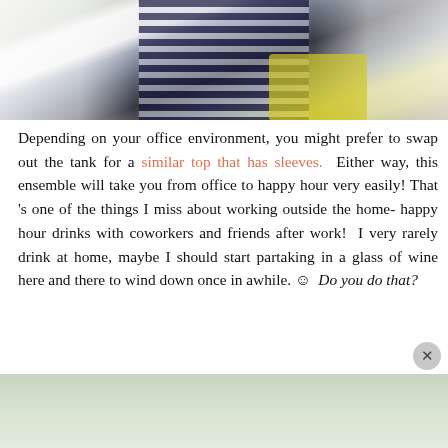[Figure (photo): Close-up photo of a person wearing a white jacket over a navy and white striped top, holding a yellow clutch bag, with jewelry visible on wrists and hand.]
Depending on your office environment, you might prefer to swap out the tank for a similar top that has sleeves.  Either way, this ensemble will take you from office to happy hour very easily! That 's one of the things I miss about working outside the home- happy hour drinks with coworkers and friends after work!  I very rarely drink at home, maybe I should start partaking in a glass of wine here and there to wind down once in awhile. ☺  Do you do that?
[Figure (photo): Partial bottom photo, appears to be an outdoor scene, partially obscured by an advertisement overlay with an X close button.]